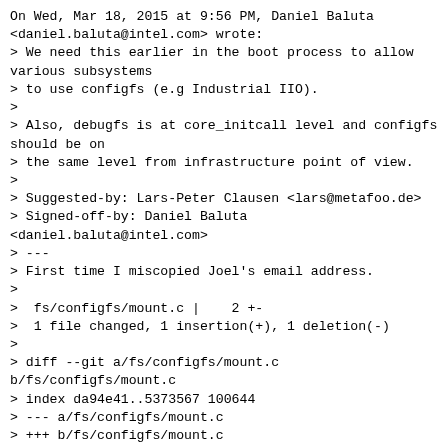On Wed, Mar 18, 2015 at 9:56 PM, Daniel Baluta <daniel.baluta@intel.com> wrote:
> We need this earlier in the boot process to allow various subsystems
> to use configfs (e.g Industrial IIO).
>
> Also, debugfs is at core_initcall level and configfs should be on
> the same level from infrastructure point of view.
>
> Suggested-by: Lars-Peter Clausen <lars@metafoo.de>
> Signed-off-by: Daniel Baluta <daniel.baluta@intel.com>
> ---
> First time I miscopied Joel's email address.
>
>  fs/configfs/mount.c |    2 +-
>  1 file changed, 1 insertion(+), 1 deletion(-)
>
> diff --git a/fs/configfs/mount.c b/fs/configfs/mount.c
> index da94e41..5373567 100644
> --- a/fs/configfs/mount.c
> +++ b/fs/configfs/mount.c
> @@ -173,5 +173,5 @@ MODULE_LICENSE("GPL");
>  MODULE_VERSION("0.0.2");
>  MODULE_DESCRIPTION("Simple RAM filesystem for user driven kernel subsystem configuration.");
>
> module_init(configfs_init);